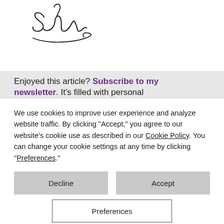[Figure (illustration): A handwritten cursive signature reading 'Susan']
Enjoyed this article? Subscribe to my newsletter. It's filled with personal
We use cookies to improve user experience and analyze website traffic. By clicking “Accept,” you agree to our website’s cookie use as described in our Cookie Policy. You can change your cookie settings at any time by clicking “Preferences.”
Decline
Accept
Preferences